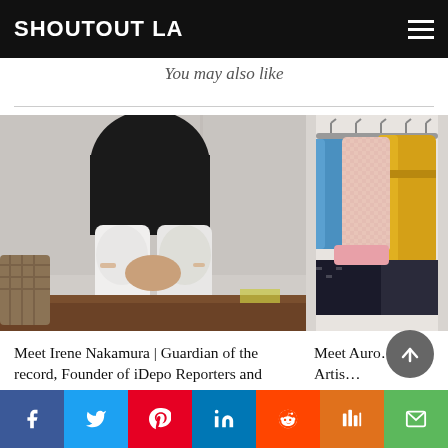SHOUTOUT LA
You may also like
[Figure (photo): Person sitting on a bench wearing white jeans and a dark top, hands clasped together, bracelets visible]
Meet Irene Nakamura | Guardian of the record, Founder of iDepo Reporters and iDepo Hawaii
[Figure (photo): Colorful jackets on a clothing rack including yellow, pink, gingham, and patterned styles]
Meet Auro… Over Artis…